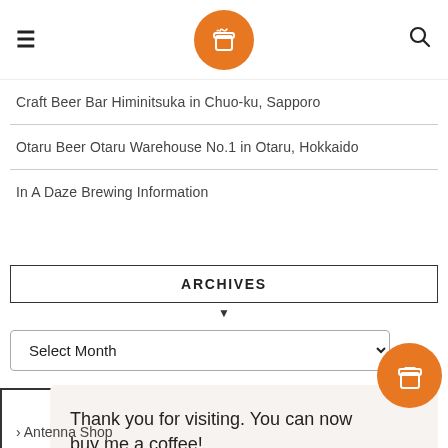≡ [logo] 🔍
Craft Beer Bar Himinitsuka in Chuo-ku, Sapporo
Otaru Beer Otaru Warehouse No.1 in Otaru, Hokkaido
In A Daze Brewing Information
ARCHIVES
Select Month
Thank you for visiting. You can now buy me a coffee!
› Antenna Shop